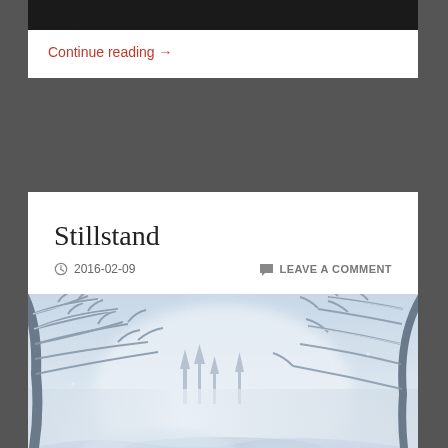[Figure (photo): Black image bar at top of first card (partial view of previous post image)]
Continue reading →
Stillstand
2016-02-09   LEAVE A COMMENT
[Figure (photo): Winter landscape photo showing snow-covered trees with frost-laden branches, misty river or creek scene with heavy snow on the ground, blue and white tones]